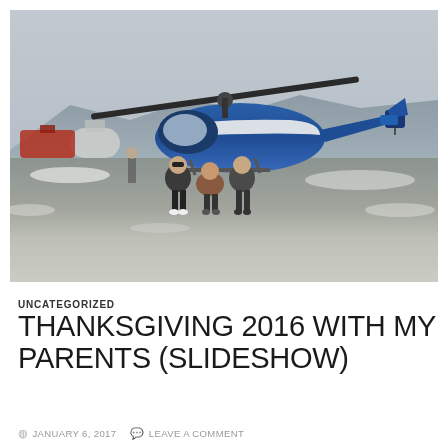[Figure (photo): Three people standing in front of a blue and white helicopter on a gravel tarmac with snow on the ground and overcast sky in the background. Industrial equipment and tanks visible in the background.]
UNCATEGORIZED
THANKSGIVING 2016 WITH MY PARENTS (SLIDESHOW)
JANUARY 6, 2017   LEAVE A COMMENT